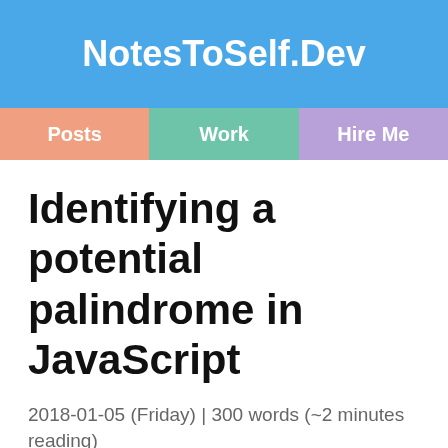NotesToSelf.Dev
Posts | Work | Hire Me
Identifying a potential palindrome in JavaScript
2018-01-05 (Friday) | 300 words (~2 minutes reading)
Notes to myself.
Given an input string, determine whether the string could possibly be a palindrome if